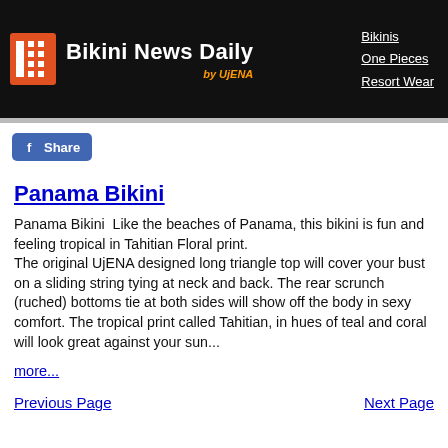Bikini News Daily by UjENA — Navigation: Bikinis, One Pieces, Resort Wear
[Figure (logo): Facebook Share button with f logo]
Panama Bikini
Panama Bikini  Like the beaches of Panama, this bikini is fun and feeling tropical in Tahitian Floral print.
The original UjENA designed long triangle top will cover your bust on a sliding string tying at neck and back. The rear scrunch (ruched) bottoms tie at both sides will show off the body in sexy comfort. The tropical print called Tahitian, in hues of teal and coral will look great against your sun...
more...
Previous Page    Next Page